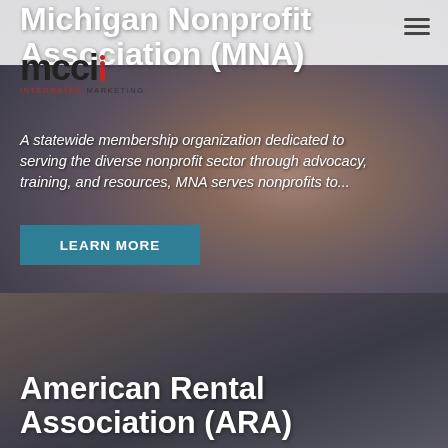[Figure (screenshot): MCCI Integrated Marketing logo with red exclamation mark style icon]
Michigan Nonprofit Association (MNA)
A statewide membership organization dedicated to serving the diverse nonprofit sector through advocacy, training, and resources, MNA serves nonprofits to...
LEARN MORE
American Rental Association (ARA)